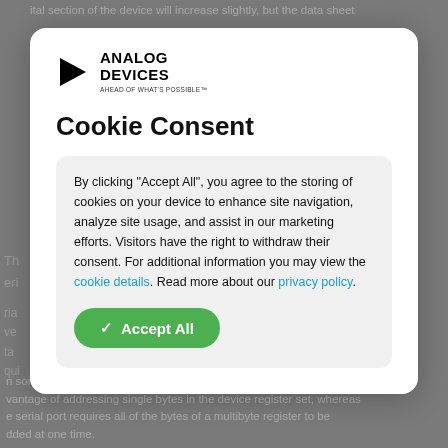ital section of the device will increase slightly, but the data sheet
[Figure (logo): Analog Devices logo with triangle icon and tagline 'AHEAD OF WHAT'S POSSIBLE']
Cookie Consent
By clicking “Accept All”, you agree to the storing of cookies on your device to enhance site navigation, analyze site usage, and assist in our marketing efforts. Visitors have the right to withdraw their consent. For additional information you may view the cookie details. Read more about our privacy policy.
n some of the DDC devices (AD0552AC free) the parallel port offers the vantage of addressing single bytes in the device register set, whereas e serial port requires all of the bytes of a multibyte register to be dded at one time.